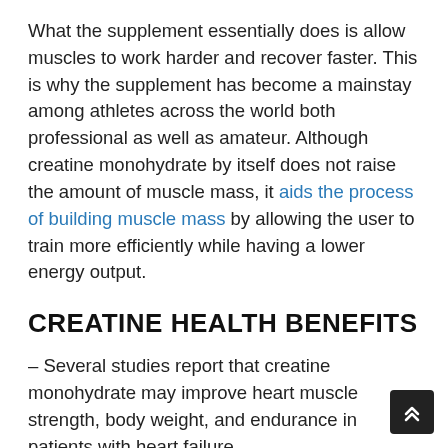What the supplement essentially does is allow muscles to work harder and recover faster. This is why the supplement has become a mainstay among athletes across the world both professional as well as amateur. Although creatine monohydrate by itself does not raise the amount of muscle mass, it aids the process of building muscle mass by allowing the user to train more efficiently while having a lower energy output.
CREATINE HEALTH BENEFITS
– Several studies report that creatine monohydrate may improve heart muscle strength, body weight, and endurance in patients with heart failure.